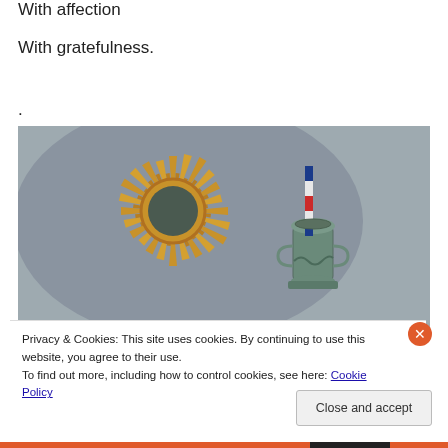With affection
With gratefulness.
.
[Figure (photo): A decorative sunburst gilt mirror with golden rays arranged in a starburst pattern, and a metal trophy/vase with a red, white and blue ribbon hanging from it, against a light grey wall background.]
Privacy & Cookies: This site uses cookies. By continuing to use this website, you agree to their use.
To find out more, including how to control cookies, see here: Cookie Policy
Close and accept